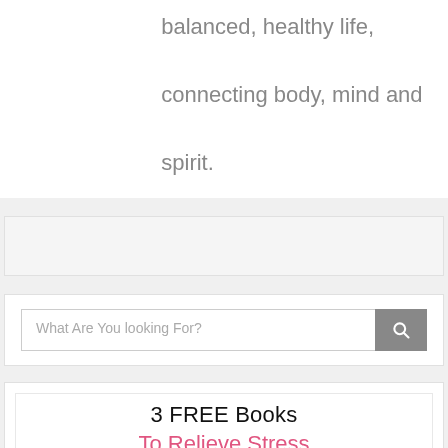balanced, healthy life, connecting body, mind and spirit.
[Figure (screenshot): Search bar widget with placeholder text 'What Are You looking For?' and a grey search button with magnifying glass icon]
3 FREE Books To Relieve Stress